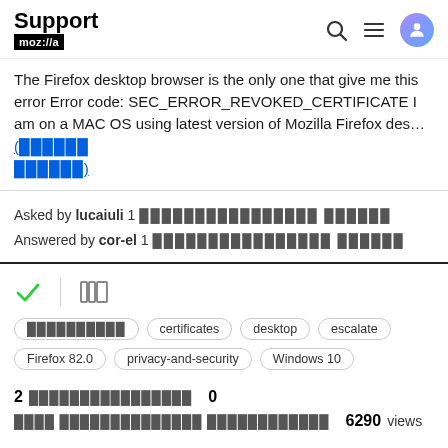Support mozilla:// [search] [menu] [avatar]
The Firefox desktop browser is the only one that give me this error Error code: SEC_ERROR_REVOKED_CERTIFICATE I am on a MAC OS using latest version of Mozilla Firefox des… (read more)
Asked by lucaiuli 1 ██████████████ ██████
Answered by cor-el 1 ██████████████ ██████
[Figure (other): Checkmark icon and archive/library icon]
██████████████
certificates
desktop
escalate
Firefox 82.0
privacy-and-security
Windows 10
2 ████████████████  0 ████ ██████████████ ████████████  6290 views